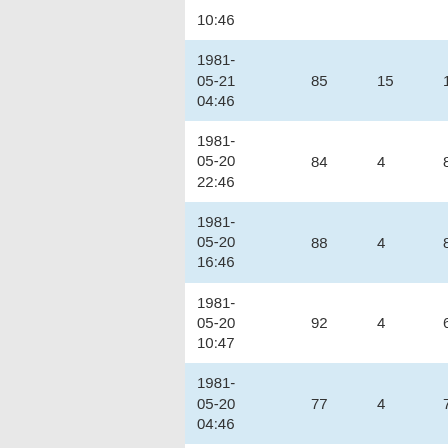| date | col1 | col2 | col3 | col4 |
| --- | --- | --- | --- | --- |
| 10:46 |  |  |  |  |
| 1981-05-21 04:46 | 85 | 15 | 10 | 7 |
| 1981-05-20 22:46 | 84 | 4 | 8 | 7 |
| 1981-05-20 16:46 | 88 | 4 | 8 | 5 |
| 1981-05-20 10:47 | 92 | 4 | 6 | 5 |
| 1981-05-20 04:46 | 77 | 4 | 7 | 13 |
| 1981-05-19 | 74 | 4 | 5 | 13 |